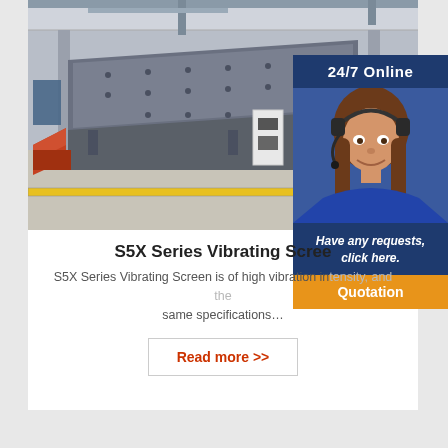[Figure (photo): Industrial vibrating screen machine in a factory setting, large grey metal machine with angled deck]
[Figure (photo): 24/7 Online customer service representative, young woman with headset smiling, dark blue sidebar overlay with 'Have any requests, click here.' and orange Quotation button]
S5X Series Vibrating Screen
S5X Series Vibrating Screen is of high vibration intensity, and the same specifications…
Read more >>